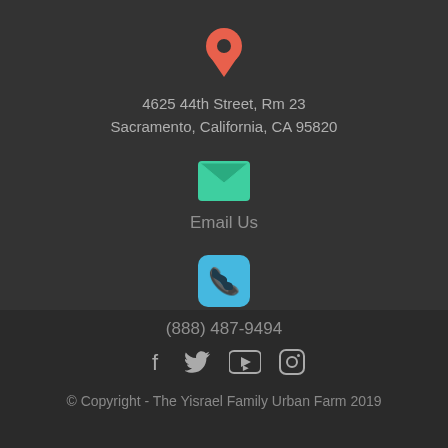[Figure (illustration): Red/salmon map pin location icon]
4625 44th Street, Rm 23
Sacramento, California, CA 95820
[Figure (illustration): Green envelope/email icon]
Email Us
[Figure (illustration): Light blue rounded square phone icon]
(888) 487-9494
[Figure (illustration): Social media icons: Facebook, Twitter, YouTube, Instagram]
© Copyright - The Yisrael Family Urban Farm 2019